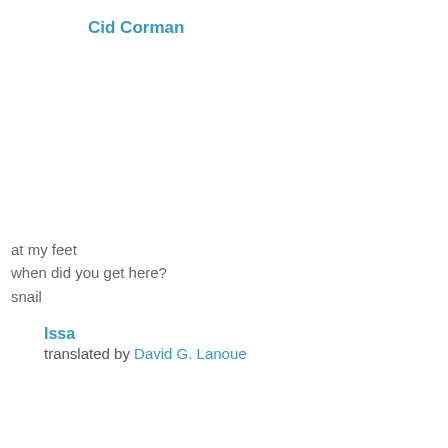Cid Corman
at my feet
when did you get here?
snail
Issa
translated by David G. Lanoue